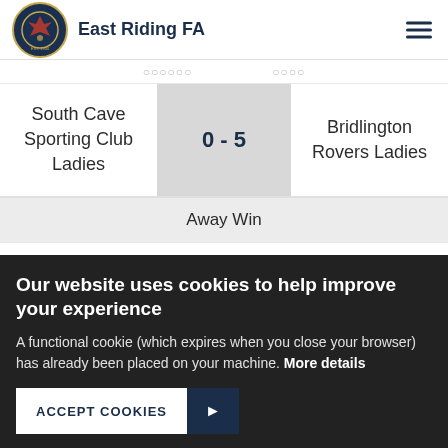East Riding FA
| Home | Score | Away |
| --- | --- | --- |
| South Cave Sporting Club Ladies | 0 - 5 | Bridlington Rovers Ladies |
Away Win
5.
Our website uses cookies to help improve your experience
A functional cookie (which expires when you close your browser) has already been placed on your machine. More details
ACCEPT COOKIES